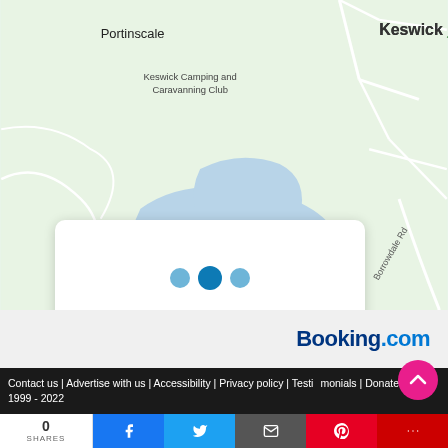[Figure (map): Google Maps style map showing the area around Keswick, UK. Shows Portinscale to the northwest, Keswick town to the northeast, Keswick Camping and Caravanning Club, Puzzling Place, Hope Park, Friars Crag, and Borrowdale Rd. A large lake (Derwentwater) is shown in blue in the center. A white loading card with three blue dots is overlaid on the map center.]
[Figure (logo): Booking.com logo in dark blue and light blue on a light grey bar]
Contact us | Advertise with us | Accessibility | Privacy policy | Testimonials | Donate | © 1999 - 2022
0 SHARES
[Figure (infographic): Social share bar with Facebook, Twitter, Email, Pinterest, and More buttons]